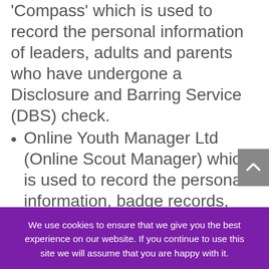'Compass' which is used to record the personal information of leaders, adults and parents who have undergone a Disclosure and Barring Service (DBS) check.
Online Youth Manager Ltd (Online Scout Manager) which is used to record the personal information, badge records, event and attendance records etc, we have a data processing agreement in place with Online
We use cookies to ensure that we give you the best experience on our website. If you continue to use this site we will assume that you are happy with it.